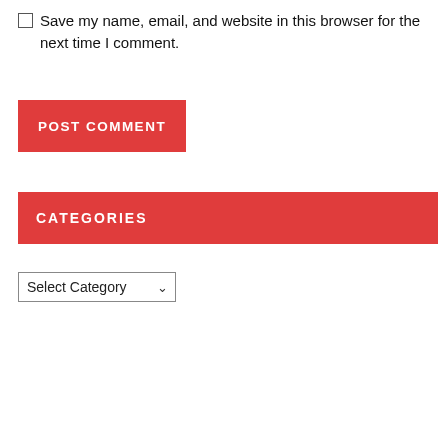Save my name, email, and website in this browser for the next time I comment.
POST COMMENT
CATEGORIES
Select Category